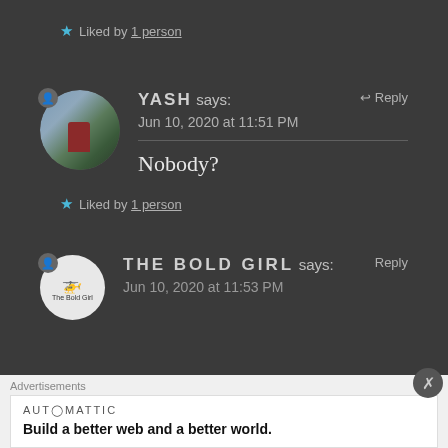★ Liked by 1 person
YASH says: Jun 10, 2020 at 11:51 PM
Nobody?
★ Liked by 1 person
THE BOLD GIRL says: Jun 10, 2020 at 11:53 PM
Advertisements
AUTOMATTIC
Build a better web and a better world.